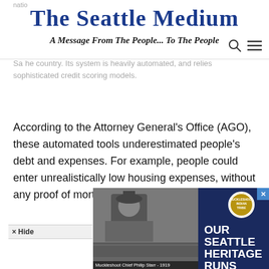natio
The Seattle Medium
A Message From The People... To The People
country. Its system is heavily automated, and relies sophisticated credit scoring models.
According to the Attorney General’s Office (AGO), these automated tools underestimated people’s debt and expenses. For example, people could enter unrealistically low housing expenses, without any proof of mortgage or rent payment.
× Hide
so asserts that Santander's practices encouraged to extend loans to people that both Santander
[Figure (photo): Black and white historical photo showing a person with caption 'Muckleshoot Chief Philip Starr - 1919', alongside advertisement text 'OUR SEATTLE HERITAGE RUNS DEEP' with Indian Tribe logo and text 'LEARN ABOUT THE FIRST PEOPLE OF SEATTLE']